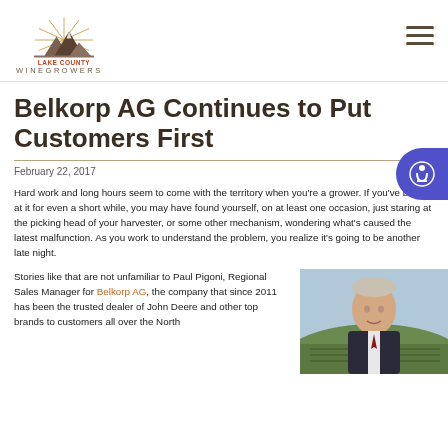[Figure (logo): Lake County Winegrowers logo with mountain and sunburst graphic, text 'LAKE COUNTY WINEGROWERS']
Belkorp AG Continues to Put Customers First
February 22, 2017
Hard work and long hours seem to come with the territory when you're a grower. If you've been at it for even a short while, you may have found yourself, on at least one occasion, just staring at the picking head of your harvester, or some other mechanism, wondering what's caused the latest malfunction. As you work to understand the problem, you realize it's going to be another late night.
Stories like that are not unfamiliar to Paul Pigoni, Regional Sales Manager for Belkorp AG, the company that since 2011 has been the trusted dealer of John Deere and other top brands to customers all over the North
[Figure (photo): Portrait photo of a man in a suit with vineyard landscape in background]